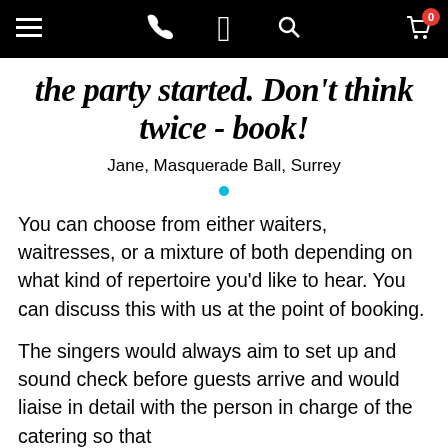Navigation bar with menu, phone, logo, search, and cart icons
the party started. Don't think twice - book!
Jane, Masquerade Ball, Surrey
You can choose from either waiters, waitresses, or a mixture of both depending on what kind of repertoire you'd like to hear. You can discuss this with us at the point of booking.
The singers would always aim to set up and sound check before guests arrive and would liaise in detail with the person in charge of the catering so that